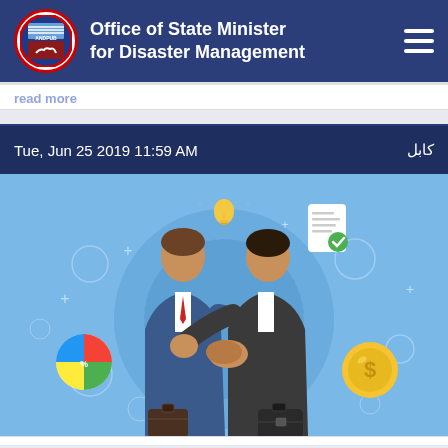Office of State Minister for Disaster Management
read more
Tue, Jun 25 2019 11:59 AM   کابل
[Figure (illustration): Two businessmen shaking hands illustration with icons: lightbulb, document, pie chart, coin/dollar, on a blue circular background with decorative elements]